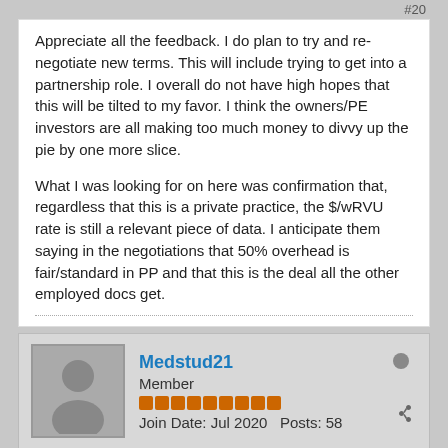#20
Appreciate all the feedback. I do plan to try and re-negotiate new terms. This will include trying to get into a partnership role. I overall do not have high hopes that this will be tilted to my favor. I think the owners/PE investors are all making too much money to divvy up the pie by one more slice.

What I was looking for on here was confirmation that, regardless that this is a private practice, the $/wRVU rate is still a relevant piece of data. I anticipate them saying in the negotiations that 50% overhead is fair/standard in PP and that this is the deal all the other employed docs get.
Medstud21
Member
Join Date: Jul 2020   Posts: 58
03-19-2022, 05:34 PM
#21
Originally posted by legoman
Appreciate all the feedback. I do plan to try and re-